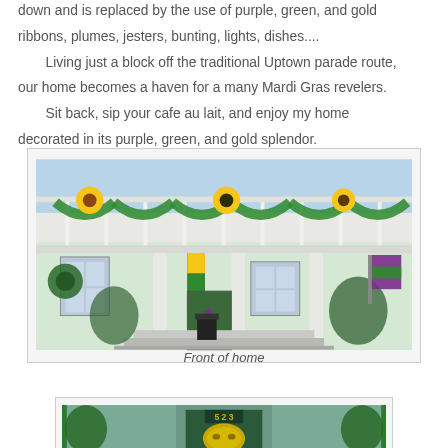down and is replaced by the use of purple, green, and gold ribbons, plumes, jesters, bunting, lights, dishes....
Living just a block off the traditional Uptown parade route, our home becomes a haven for a many Mardi Gras revelers.
Sit back, sip your cafe au lait, and enjoy my home decorated in its purple, green, and gold splendor.
[Figure (photo): Front of a New Orleans home decorated with Mardi Gras colors — purple, green, and gold bunting, wreaths, and flags on the porch and balcony.]
Front of home
[Figure (photo): Close-up of front door area of home showing address 5223 and a gold Mardi Gras mask decoration, with green decorations on the sides.]